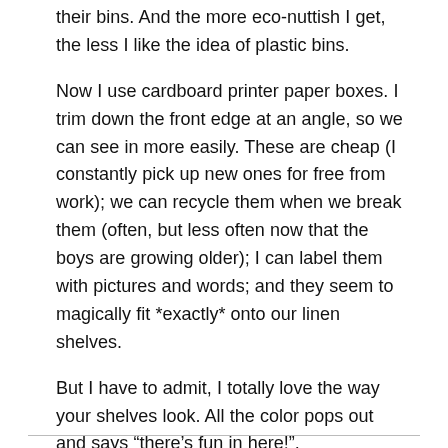their bins. And the more eco-nuttish I get, the less I like the idea of plastic bins.
Now I use cardboard printer paper boxes. I trim down the front edge at an angle, so we can see in more easily. These are cheap (I constantly pick up new ones for free from work); we can recycle them when we break them (often, but less often now that the boys are growing older); I can label them with pictures and words; and they seem to magically fit *exactly* onto our linen shelves.
But I have to admit, I totally love the way your shelves look. All the color pops out and says “there’s fun in here!”.